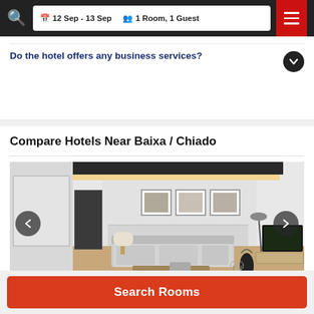12 Sep - 13 Sep  1 Room, 1 Guest
Do the hotel offers any business services?
Compare Hotels Near Baixa / Chiado
[Figure (photo): Interior photo of a modern hotel room/living area with white sofa, framed artwork on wall, TV on wooden media console, pendant lamp, and warm ceiling cove lighting.]
Search Rooms